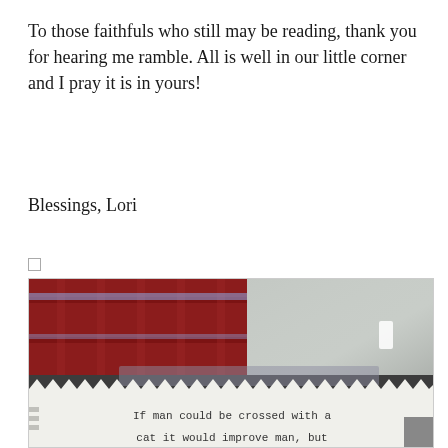To those faithfuls who still may be reading, thank you for hearing me ramble. All is well in our little corner and I pray it is in yours!
Blessings, Lori
[Figure (photo): Photo of a paper note taped to a window or surface. The background shows a red plaid fabric on the left and glass/reflections on the right. A white paper with zigzag torn edge is taped with a strip of tape. The paper reads: 'If man could be crossed with a cat it would improve man, but']